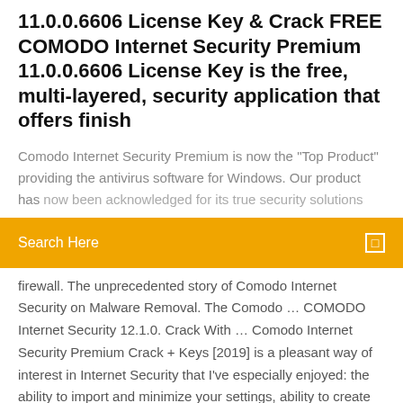11.0.0.6606 License Key & Crack FREE COMODO Internet Security Premium 11.0.0.6606 License Key is the free, multi-layered, security application that offers finish
Comodo Internet Security Premium is now the "Top Product" providing the antivirus software for Windows. Our product has now been acknowledged for its true security solutions.
Search Here
firewall. The unprecedented story of Comodo Internet Security on Malware Removal. The Comodo … COMODO Internet Security 12.1.0. Crack With … Comodo Internet Security Premium Crack + Keys [2019] is a pleasant way of interest in Internet Security that I've especially enjoyed: the ability to import and minimize your settings, ability to create records with you, reliable and blocked applications Apart from less intervention for the program, besides this, to increase discussion from the program correctly to report suspicious documents Comodo